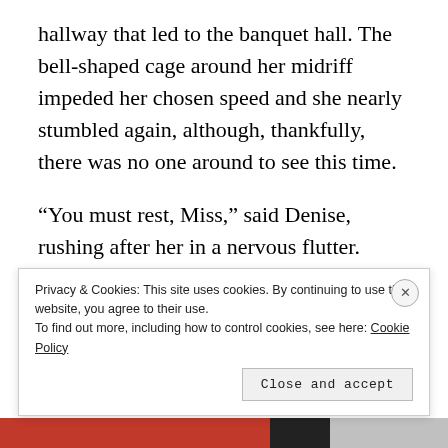hallway that led to the banquet hall. The bell-shaped cage around her midriff impeded her chosen speed and she nearly stumbled again, although, thankfully, there was no one around to see this time.
“You must rest, Miss,” said Denise, rushing after her in a nervous flutter. “Your father said that if you were to be allowed to attend the gathering, that you must refrain from exerting yourself in any way.”
Isabel could hear the slight note of hysteria in her
Privacy & Cookies: This site uses cookies. By continuing to use this website, you agree to their use.
To find out more, including how to control cookies, see here: Cookie Policy